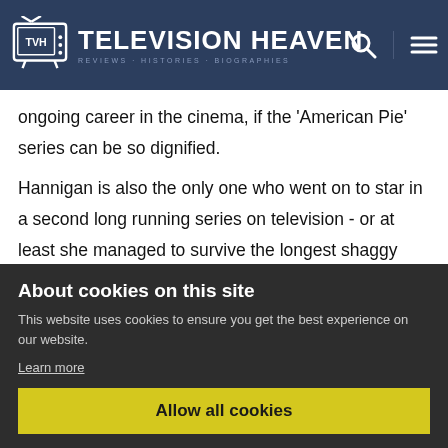TELEVISION HEAVEN
ongoing career in the cinema, if the 'American Pie' series can be so dignified.
Hannigan is also the only one who went on to star in a second long running series on television - or at least she managed to survive the longest shaggy dog story in history, How I Met Your Mother, with her honour intact. Gellar, Buffy herself, did some of her best work in Ringer,
[Figure (screenshot): Cookie consent overlay on Television Heaven website with title 'About cookies on this site', description text, Learn more link, and Allow all cookies button]